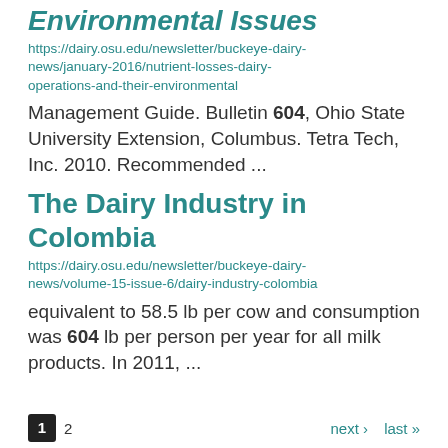Environmental Issues
https://dairy.osu.edu/newsletter/buckeye-dairy-news/january-2016/nutrient-losses-dairy-operations-and-their-environmental
Management Guide. Bulletin 604, Ohio State University Extension, Columbus. Tetra Tech, Inc. 2010. Recommended ...
The Dairy Industry in Colombia
https://dairy.osu.edu/newsletter/buckeye-dairy-news/volume-15-issue-6/dairy-industry-colombia
equivalent to 58.5 lb per cow and consumption was 604 lb per person per year for all milk products. In 2011, ...
1  2  next › last »